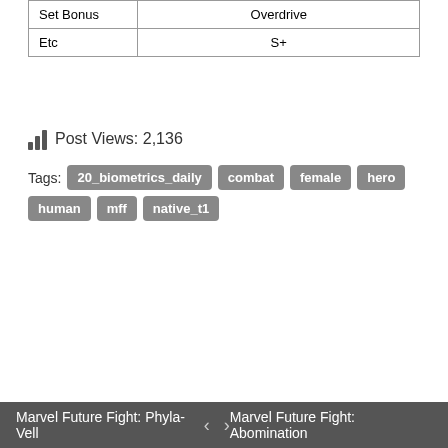| Set Bonus | Overdrive |
| Etc | S+ |
Post Views: 2,136
Tags: 20_biometrics_daily combat female hero human mff native_t1
Marvel Future Fight: Phyla-Vell  <  >  Marvel Future Fight: Abomination